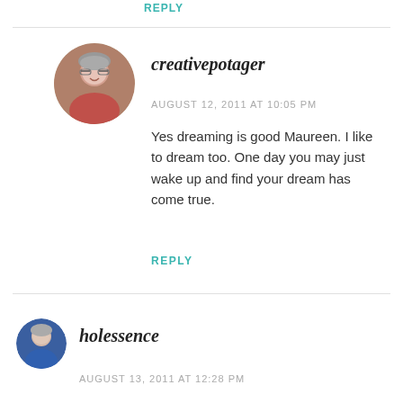REPLY
[Figure (photo): Circular avatar photo of a woman with gray hair and glasses, smiling, wearing a red top]
creativepotager
AUGUST 12, 2011 AT 10:05 PM
Yes dreaming is good Maureen. I like to dream too. One day you may just wake up and find your dream has come true.
REPLY
[Figure (photo): Circular avatar photo of a woman with short gray hair wearing a blue top]
holessence
AUGUST 13, 2011 AT 12:28 PM